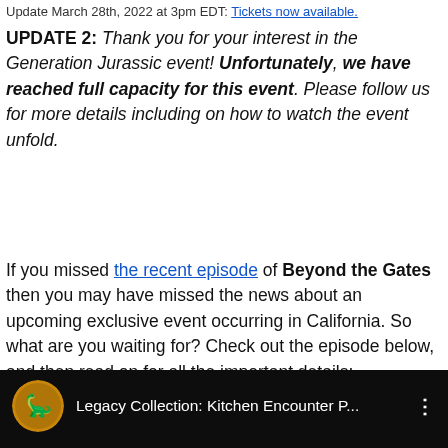Update March 28th, 2022 at 3pm EDT: Tickets now available.
UPDATE 2: Thank you for your interest in the Generation Jurassic event! Unfortunately, we have reached full capacity for this event. Please follow us for more details including on how to watch the event unfold.
If you missed the recent episode of Beyond the Gates then you may have missed the news about an upcoming exclusive event occurring in California. So what are you waiting for? Check out the episode below, and then read on for all the important details:
[Figure (screenshot): YouTube video thumbnail/player bar showing 'Legacy Collection: Kitchen Encounter P...' with Jurassic World logo icon and three-dot menu, dark background with a dimly lit scene below.]